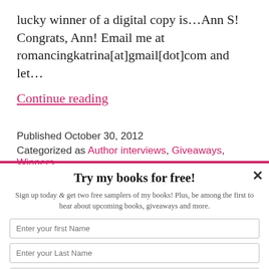lucky winner of a digital copy is…Ann S! Congrats, Ann! Email me at romancingkatrina[at]gmail[dot]com and let…
Continue reading
Published October 30, 2012
Categorized as Author interviews, Giveaways, Winners
Try my books for free!
Sign up today & get two free samplers of my books! Plus, be among the first to hear about upcoming books, giveaways and more.
Enter your first Name
Enter your Last Name
Enter your email address